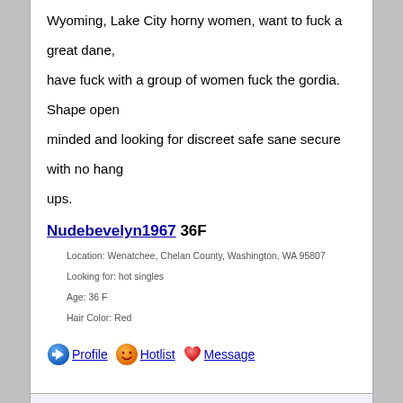Wyoming, Lake City horny women, want to fuck a great dane, have fuck with a group of women fuck the gordia. Shape open minded and looking for discreet safe sane secure with no hang ups.
Nudebevelyn1967 36F
Location: Wenatchee, Chelan County, Washington, WA 95807
Looking for: hot singles
Age: 36 F
Hair Color: Red
Profile  Hotlist  Message
If she exists out there hot little.